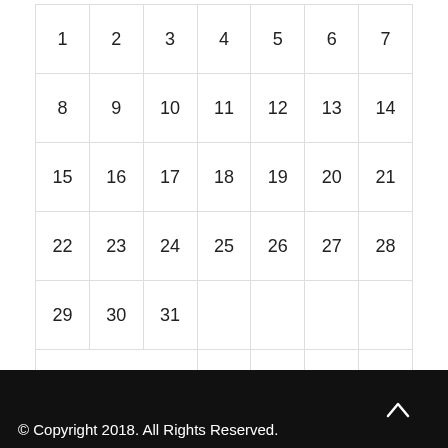| 1 | 2 | 3 | 4 | 5 | 6 | 7 |
| 8 | 9 | 10 | 11 | 12 | 13 | 14 |
| 15 | 16 | 17 | 18 | 19 | 20 | 21 |
| 22 | 23 | 24 | 25 | 26 | 27 | 28 |
| 29 | 30 | 31 |  |  |  |  |
| « Jul |  |  |  |  |  |  |
© Copyright 2018. All Rights Reserved.